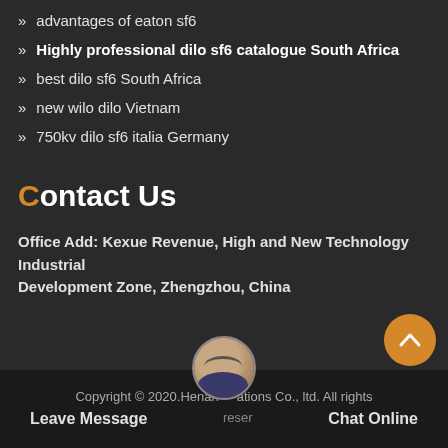advantages of eaton sf6
Highly professional dilo sf6 catalogue South Africa
best dilo sf6 South Africa
new wilo dilo Vietnam
750kv dilo sf6 italia Germany
Contact Us
Office Add: Kexue Revenue, High and New Technology Industrial Development Zone, Zhengzhou, China
Copyright © 2020.Henan ... ations Co., ltd. All rights reserved   Leave Message   Chat Online